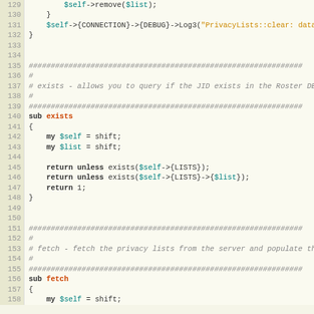[Figure (screenshot): Source code screenshot showing Perl code for PrivacyLists module, lines 129-158, with syntax highlighting. Shows remove, clear, exists, and fetch subroutines with colored keywords, variables, strings, and comments.]